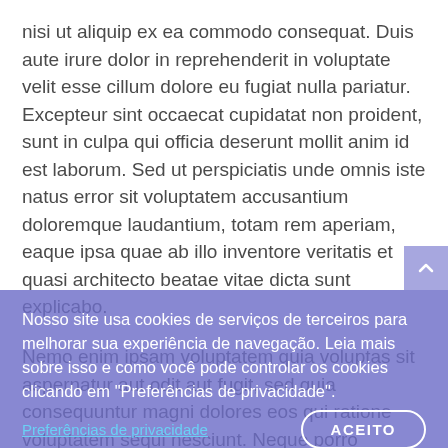nisi ut aliquip ex ea commodo consequat. Duis aute irure dolor in reprehenderit in voluptate velit esse cillum dolore eu fugiat nulla pariatur. Excepteur sint occaecat cupidatat non proident, sunt in culpa qui officia deserunt mollit anim id est laborum. Sed ut perspiciatis unde omnis iste natus error sit voluptatem accusantium doloremque laudantium, totam rem aperiam, eaque ipsa quae ab illo inventore veritatis et quasi architecto beatae vitae dicta sunt explicabo.

Nemo enim ipsam voluptatem quia voluptas sit aspernatur aut odit aut fugit, sed quia consequuntur magni dolores eos qui ratione voluptatem sequi nesciunt. Neque porro quisquam est, qui dolorem ipsum quia dolor sit amet, consectetur, adipisci velit, sed quia non numquam eius modi tempora incidunt ut labore et dolore magnam aliquam quaerat voluptatem.
Nosso site usa cookies de serviços de terceiros para melhorar sua experiência de navegação. Leia mais sobre isso e como você pode controlar os cookies clicando em "Preferências de privacidade".
Preferências de privacidade
ACEITO